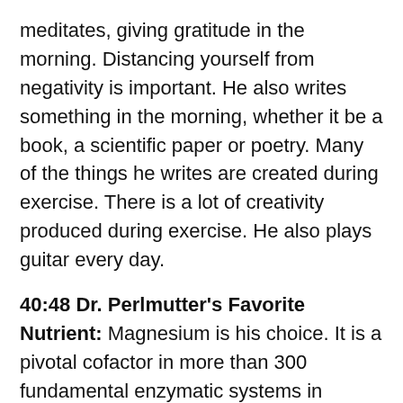meditates, giving gratitude in the morning. Distancing yourself from negativity is important. He also writes something in the morning, whether it be a book, a scientific paper or poetry. Many of the things he writes are created during exercise. There is a lot of creativity produced during exercise. He also plays guitar every day.
40:48 Dr. Perlmutter's Favorite Nutrient: Magnesium is his choice. It is a pivotal cofactor in more than 300 fundamental enzymatic systems in human physiology. It plays a role in how we manufacture DNA, RNA, protein, the basics of oxidative phosphorylation and how we make energy from the food we eat. More than half of Americans are getting less than the RDA, which is already low.